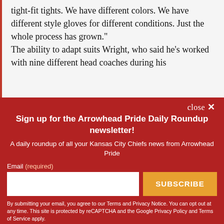tight-fit tights. We have different colors. We have different style gloves for different conditions. Just the whole process has grown."

The ability to adapt suits Wright, who said he's worked with nine different head coaches during his
close ✕
Sign up for the Arrowhead Pride Daily Roundup newsletter!
A daily roundup of all your Kansas City Chiefs news from Arrowhead Pride
Email (required)
SUBSCRIBE
By submitting your email, you agree to our Terms and Privacy Notice. You can opt out at any time. This site is protected by reCAPTCHA and the Google Privacy Policy and Terms of Service apply.